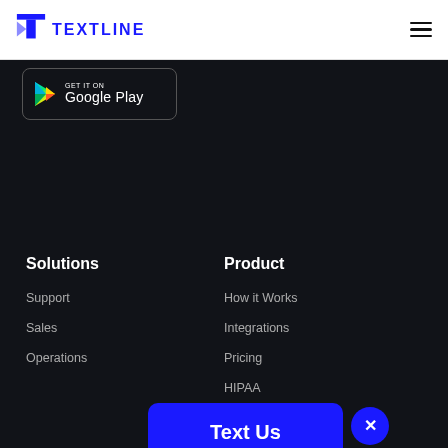TEXTLINE
[Figure (logo): Google Play store badge with play triangle icon and text GET IT ON Google Play on dark background with rounded rectangle border]
Solutions
Product
Support
How it Works
Sales
Integrations
Operations
Pricing
HIPAA
[Figure (other): Blue chat bubble widget with bold white text 'Text Us' and a blue circle close button with X]